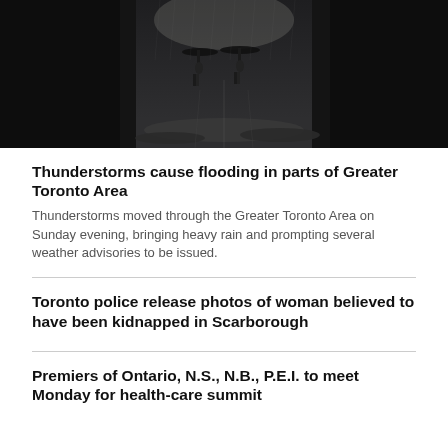[Figure (photo): Two people with umbrellas silhouetted against a wet, rain-flooded underpass or arcade at night, with reflections on the ground.]
Thunderstorms cause flooding in parts of Greater Toronto Area
Thunderstorms moved through the Greater Toronto Area on Sunday evening, bringing heavy rain and prompting several weather advisories to be issued.
Toronto police release photos of woman believed to have been kidnapped in Scarborough
Premiers of Ontario, N.S., N.B., P.E.I. to meet Monday for health-care summit